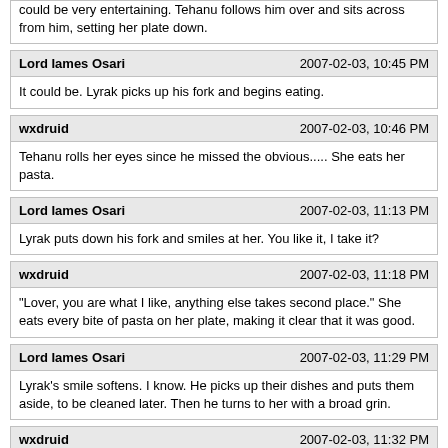could be very entertaining. Tehanu follows him over and sits across from him, setting her plate down.
Lord Iames Osari | 2007-02-03, 10:45 PM
It could be. Lyrak picks up his fork and begins eating.
wxdruid | 2007-02-03, 10:46 PM
Tehanu rolls her eyes since he missed the obvious..... She eats her pasta.
Lord Iames Osari | 2007-02-03, 11:13 PM
Lyrak puts down his fork and smiles at her. You like it, I take it?
wxdruid | 2007-02-03, 11:18 PM
"Lover, you are what I like, anything else takes second place." She eats every bite of pasta on her plate, making it clear that it was good.
Lord Iames Osari | 2007-02-03, 11:29 PM
Lyrak's smile softens. I know. He picks up their dishes and puts them aside, to be cleaned later. Then he turns to her with a broad grin.
wxdruid | 2007-02-03, 11:32 PM
She raises her eyebrows and slowly licks her lips as she saunters towards him, shrugging off the other sleeve of her dress.
Lord Iames Osari | 2007-02-03, 11:47 PM